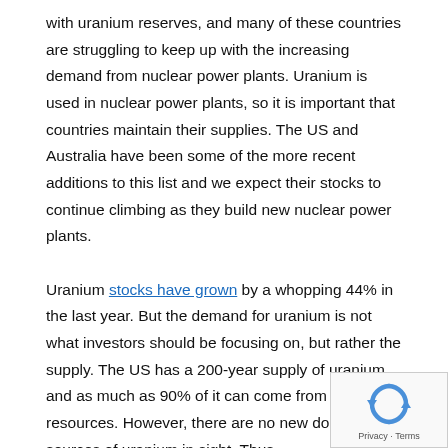with uranium reserves, and many of these countries are struggling to keep up with the increasing demand from nuclear power plants. Uranium is used in nuclear power plants, so it is important that countries maintain their supplies. The US and Australia have been some of the more recent additions to this list and we expect their stocks to continue climbing as they build new nuclear power plants.

Uranium stocks have grown by a whopping 44% in the last year. But the demand for uranium is not what investors should be focusing on, but rather the supply. The US has a 200-year supply of uranium and as much as 90% of it can come from domestic resources. However, there are no new domestic sources of uranium in sight. Thus,